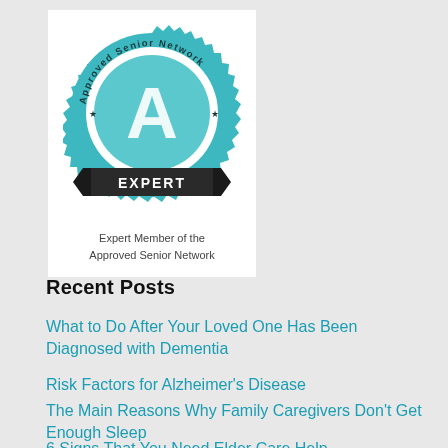[Figure (logo): Approved Senior Network Expert Member badge — circular teal seal with serrated edge, letter A in center, text 'Approved Senior Network' around the circle, black banner ribbon at bottom with text 'EXPERT']
Expert Member of the Approved Senior Network
Recent Posts
What to Do After Your Loved One Has Been Diagnosed with Dementia
Risk Factors for Alzheimer's Disease
The Main Reasons Why Family Caregivers Don't Get Enough Sleep
6 Signs That You Need Elder Care Help